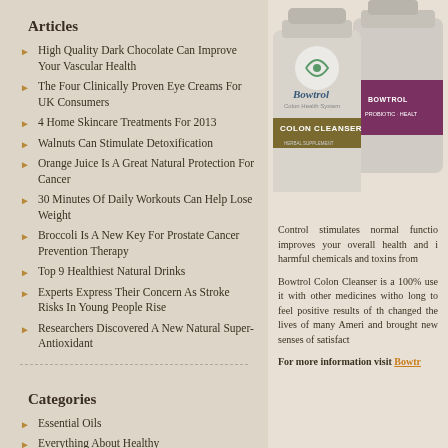Articles
High Quality Dark Chocolate Can Improve Your Vascular Health
The Four Clinically Proven Eye Creams For UK Consumers
4 Home Skincare Treatments For 2013
Walnuts Can Stimulate Detoxification
Orange Juice Is A Great Natural Protection For Cancer
30 Minutes Of Daily Workouts Can Help Lose Weight
Broccoli Is A New Key For Prostate Cancer Prevention Therapy
Top 9 Healthiest Natural Drinks
Experts Express Their Concern As Stroke Risks In Young People Rise
Researchers Discovered A New Natural Super-Antioxidant
Categories
Essential Oils
Everything About Healthy
[Figure (photo): Two Bowtrol product bottles - Colon Cleanser and Probiotic Health supplement]
Control stimulates normal function improves your overall health and in harmful chemicals and toxins from
Bowtrol Colon Cleanser is a 100% use it with other medicines withou long to feel positive results of thi changed the lives of many Americ and brought new senses of satisfacti
For more information visit Bowtr